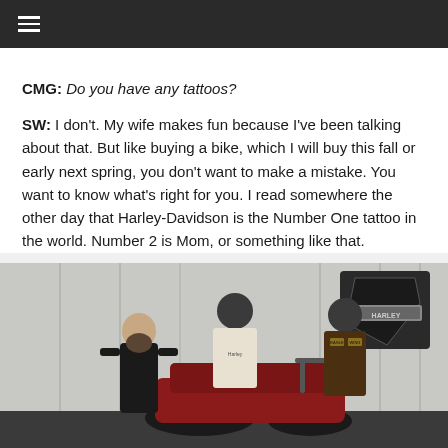≡ (hamburger menu)
CMG: Do you have any tattoos?
SW: I don't. My wife makes fun because I've been talking about that. But like buying a bike, which I will buy this fall or early next spring, you don't want to make a mistake. You want to know what's right for you. I read somewhere the other day that Harley-Davidson is the Number One tattoo in the world. Number 2 is Mom, or something like that.
[Figure (photo): Photo of a man standing next to a motorcycle display with mannequins wearing riding gear, Harley-Davidson logo shield backdrop visible, taken at what appears to be an indoor showroom or event space.]